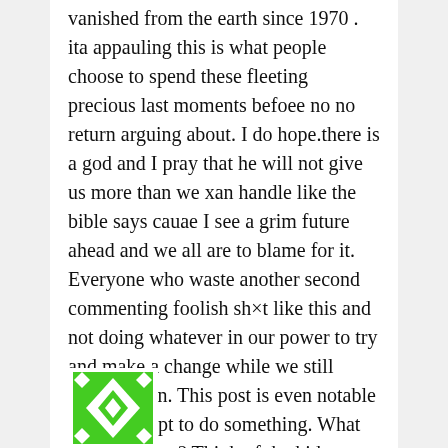vanished from the earth since 1970 . ita appauling this is what people choose to spend these fleeting precious last moments befoee no no return arguing about. I do hope.there is a god and I pray that he will not give us more than we xan handle like the bible says cauae I see a grim future ahead and we all are to blame for it. Everyone who waste another second commenting foolish sh×t like this and not doing whatever in our power to try and make a change while we still possiblu can. This post is even notable as an attempt to do something. What are you doing? Think of the kids. Amen
[Figure (illustration): Green and white decorative avatar/icon with geometric diamond and square pattern]